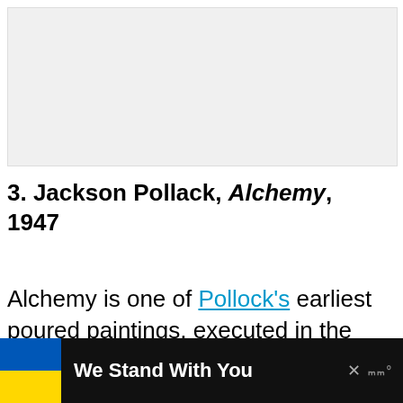[Figure (photo): Image placeholder area for Jackson Pollack Alchemy painting]
3. Jackson Pollack, Alchemy, 1947
Alchemy is one of Pollock's earliest poured paintings, executed in the revolutionary technique that was his most
[Figure (infographic): We Stand With You advertisement banner with Ukrainian flag colors (blue and yellow)]